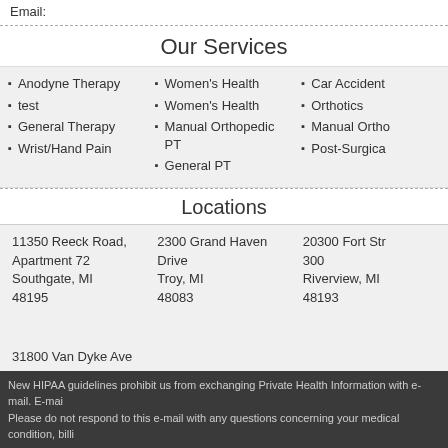Email:
Our Services
Anodyne Therapy
test
General Therapy
Wrist/Hand Pain
Women's Health
Women's Health
Manual Orthopedic PT
General PT
Car Accident
Orthotics
Manual Ortho
Post-Surgica
Locations
11350 Reeck Road, Apartment 72 Southgate, MI 48195
2300 Grand Haven Drive Troy, MI 48083
20300 Fort Str 300 Riverview, MI 48193
31800 Van Dyke Ave Warrne, MI 48093
New HIPAA guidelines prohibit us from exchanging Private Health Information with e-mail. E-mai
Please do not respond to this e-mail with any questions concerning your medical condition, billi